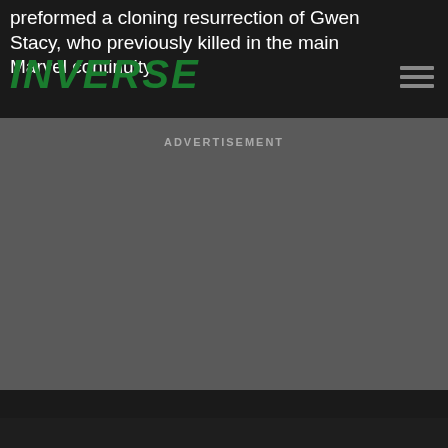preformed a cloning resurrection of Gwen Stacy, who previously killed in the main Marvel continuity.
[Figure (logo): Inverse logo in bold green italic uppercase letters]
ADVERTISEMENT